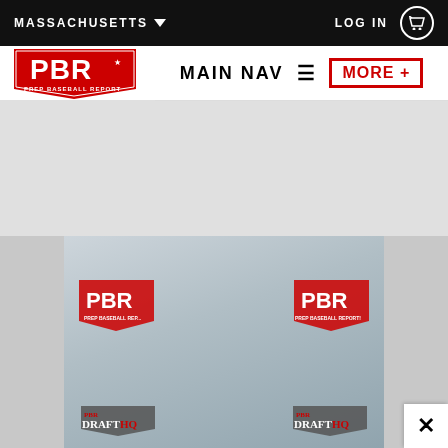MASSACHUSETTS | LOG IN
[Figure (logo): PBR Prep Baseball Report logo - red and white pennant/shield design with PBR initials]
MAIN NAV ≡  MORE+
[Figure (photo): Young baseball player wearing a blue cap with NE logo and PBR branded backdrop with DRAFT HQ logos visible]